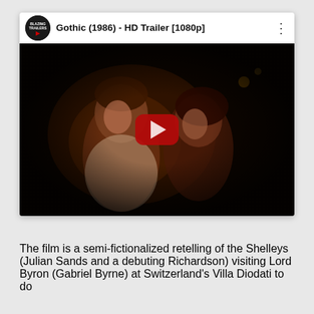[Figure (screenshot): YouTube video embed showing 'Gothic (1986) - HD Trailer [1080p]'. The video thumbnail shows two people (a man and a woman) in a dimly lit scene. A red YouTube play button is overlaid in the center. The video header shows the Blazing Trailers channel logo, the video title, and a three-dot menu icon.]
The film is a semi-fictionalized retelling of the Shelleys (Julian Sands and a debuting Richardson) visiting Lord Byron (Gabriel Byrne) at Switzerland's Villa Diodati to do